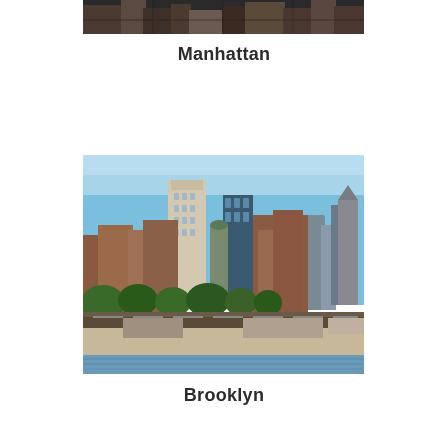[Figure (photo): Aerial view of Manhattan skyscrapers seen from above, showing dense urban rooftops in dark tones.]
Manhattan
[Figure (photo): Brooklyn skyline viewed from across the water, showing mid-rise brick buildings and tall towers under a clear blue sky with a highway and waterfront in the foreground.]
Brooklyn